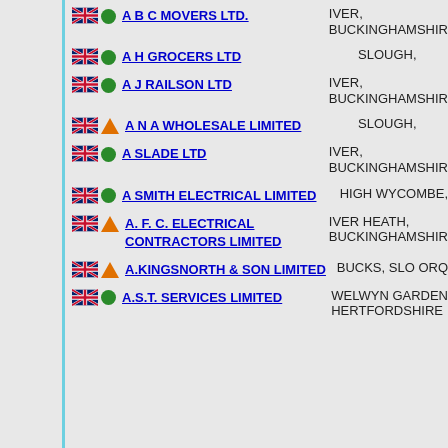A B C MOVERS LTD. — IVER, BUCKINGHAMSHIRE
A H GROCERS LTD — SLOUGH,
A J RAILSON LTD — IVER, BUCKINGHAMSHIRE
A N A WHOLESALE LIMITED — SLOUGH,
A SLADE LTD — IVER, BUCKINGHAMSHIRE
A SMITH ELECTRICAL LIMITED — HIGH WYCOMBE,
A. F. C. ELECTRICAL CONTRACTORS LIMITED — IVER HEATH, BUCKINGHAMSHIRE
A.KINGSNORTH & SON LIMITED — BUCKS, SLO ORQ
A.S.T. SERVICES LIMITED — WELWYN GARDEN, HERTFORDSHIRE